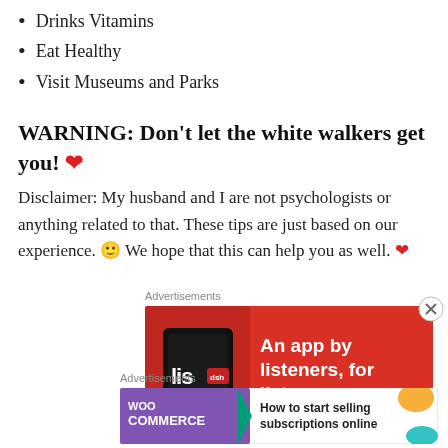Drinks Vitamins
Eat Healthy
Visit Museums and Parks
WARNING: Don't let the white walkers get you! ❤
Disclaimer: My husband and I are not psychologists or anything related to that. These tips are just based on our experience. 🙂 We hope that this can help you as well. ❤
[Figure (other): Advertisement banner: red background with phone image showing 'lis' text and white bold text 'An app by listeners, for listeners']
[Figure (other): Advertisement banner: WooCommerce logo on purple background with teal arrow, text 'How to start selling subscriptions online', orange and teal decorative elements]